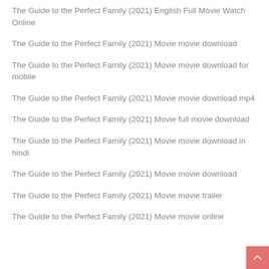The Guide to the Perfect Family (2021) English Full Movie Watch Online
The Guide to the Perfect Family (2021) Movie movie download
The Guide to the Perfect Family (2021) Movie movie download for mobile
The Guide to the Perfect Family (2021) Movie movie download mp4
The Guide to the Perfect Family (2021) Movie full movie download
The Guide to the Perfect Family (2021) Movie movie download in hindi
The Guide to the Perfect Family (2021) Movie movie download
The Guide to the Perfect Family (2021) Movie movie trailer
The Guide to the Perfect Family (2021) Movie movie online